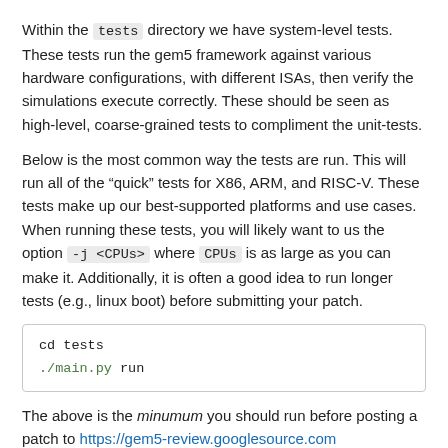Within the tests directory we have system-level tests. These tests run the gem5 framework against various hardware configurations, with different ISAs, then verify the simulations execute correctly. These should be seen as high-level, coarse-grained tests to compliment the unit-tests.
Below is the most common way the tests are run. This will run all of the “quick” tests for X86, ARM, and RISC-V. These tests make up our best-supported platforms and use cases. When running these tests, you will likely want to us the option -j <CPUs> where CPUs is as large as you can make it. Additionally, it is often a good idea to run longer tests (e.g., linux boot) before submitting your patch.
cd tests
./main.py run
The above is the minumum you should run before posting a patch to https://gem5-review.googlesource.com
Running tests from multiple directories